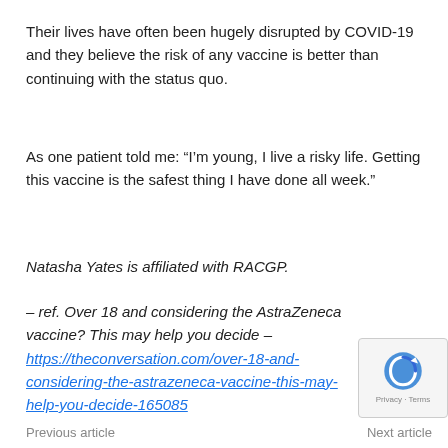Their lives have often been hugely disrupted by COVID-19 and they believe the risk of any vaccine is better than continuing with the status quo.
As one patient told me: “I’m young, I live a risky life. Getting this vaccine is the safest thing I have done all week.”
Natasha Yates is affiliated with RACGP.
– ref. Over 18 and considering the AstraZeneca vaccine? This may help you decide – https://theconversation.com/over-18-and-considering-the-astrazeneca-vaccine-this-may-help-you-decide-165085
Previous article
Next article